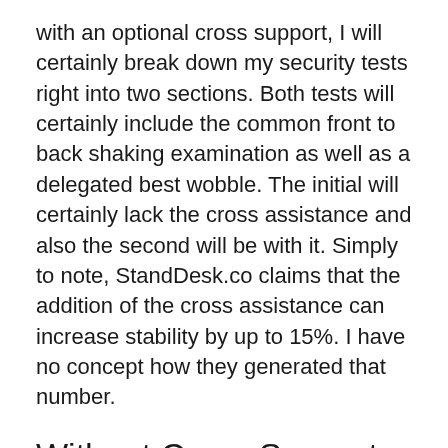with an optional cross support, I will certainly break down my security tests right into two sections. Both tests will certainly include the common front to back shaking examination as well as a delegated best wobble. The initial will certainly lack the cross assistance and also the second will be with it. Simply to note, StandDesk.co claims that the addition of the cross assistance can increase stability by up to 15%. I have no concept how they generated that number.
Without Cross Support
Left to Right: The wobble examination was a different situation. StandDesk Simple was the 2nd desk that I evaluated that wobbled